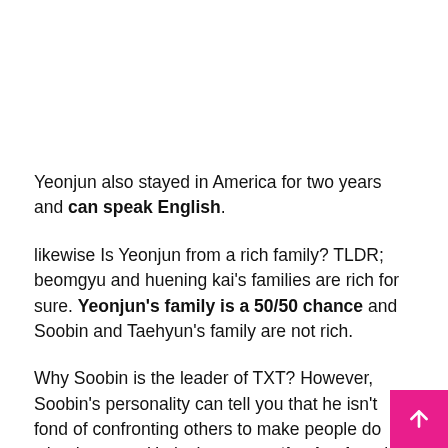Yeonjun also stayed in America for two years and can speak English.
likewise Is Yeonjun from a rich family? TLDR; beomgyu and huening kai's families are rich for sure. Yeonjun's family is a 50/50 chance and Soobin and Taehyun's family are not rich.
Why Soobin is the leader of TXT? However, Soobin's personality can tell you that he isn't fond of confronting others to make people do what he want. He is the supportive leader who will give you emotional support and